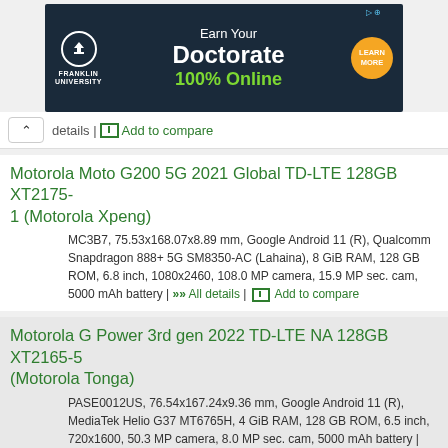[Figure (other): Franklin University advertisement banner: Earn Your Doctorate 100% Online, with Learn More button]
details | Add to compare
Motorola Moto G200 5G 2021 Global TD-LTE 128GB XT2175-1 (Motorola Xpeng)
MC3B7, 75.53x168.07x8.89 mm, Google Android 11 (R), Qualcomm Snapdragon 888+ 5G SM8350-AC (Lahaina), 8 GiB RAM, 128 GB ROM, 6.8 inch, 1080x2460, 108.0 MP camera, 15.9 MP sec. cam, 5000 mAh battery | All details | Add to compare
Motorola G Power 3rd gen 2022 TD-LTE NA 128GB XT2165-5 (Motorola Tonga)
PASE0012US, 76.54x167.24x9.36 mm, Google Android 11 (R), MediaTek Helio G37 MT6765H, 4 GiB RAM, 128 GB ROM, 6.5 inch, 720x1600, 50.3 MP camera, 8.0 MP sec. cam, 5000 mAh battery | All details | Add to compare
Motorola G Power 3rd gen 2022 TD-LTE US 64GB XT2165-2 (Motorola Tonga)